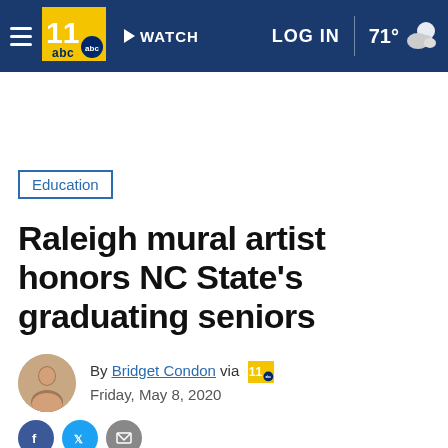WTVD ABC11 — WATCH | LOG IN | 71°
Education
Raleigh mural artist honors NC State's graduating seniors
By Bridget Condon via [abc11 logo]
Friday, May 8, 2020